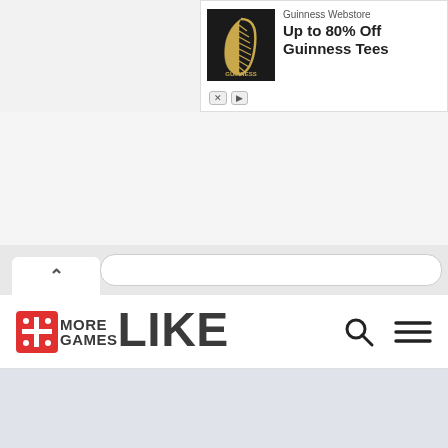[Figure (screenshot): Ad banner for Guinness Webstore showing 'Up to 80% Off Guinness Tees' with Guinness harp logo image on black background]
[Figure (screenshot): Browser UI showing tab bar with chevron up icon and white URL bar]
[Figure (logo): MoreGamesLike logo with red game controller icon and dark grey bold text reading MORE GAMES LIKE]
[Figure (screenshot): Light blue-grey page content area below navigation bar]